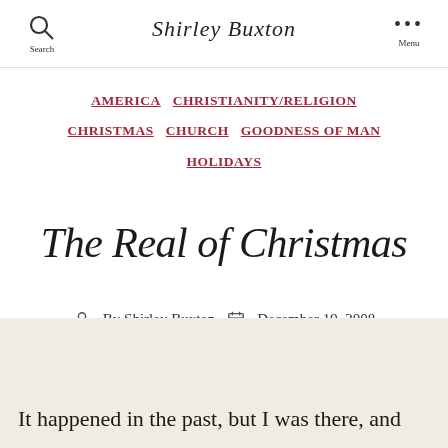Shirley Buxton
AMERICA  CHRISTIANITY/RELIGION  CHRISTMAS  CHURCH  GOODNESS OF MAN  HOLIDAYS
The Real of Christmas
By Shirley Buxton  December 19, 2008  4 Comments
It happened in the past, but I was there, and